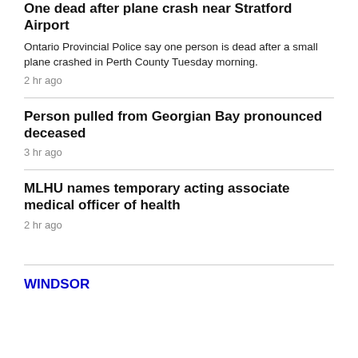One dead after plane crash near Stratford Airport
Ontario Provincial Police say one person is dead after a small plane crashed in Perth County Tuesday morning.
2 hr ago
Person pulled from Georgian Bay pronounced deceased
3 hr ago
MLHU names temporary acting associate medical officer of health
2 hr ago
WINDSOR